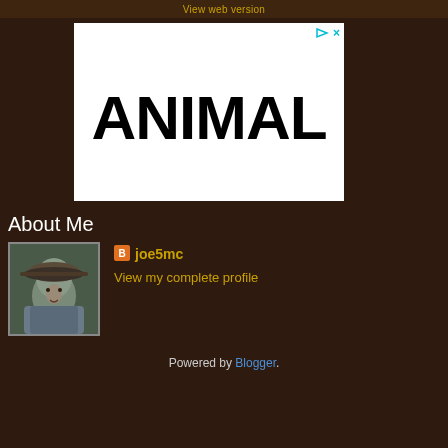View web version
[Figure (other): Advertisement banner with large bold text reading ANIMAL on white background]
About Me
[Figure (photo): Profile photo of a person wearing a hat, appears to be a historical figure or miniature figurine]
joe5mc
View my complete profile
Powered by Blogger.